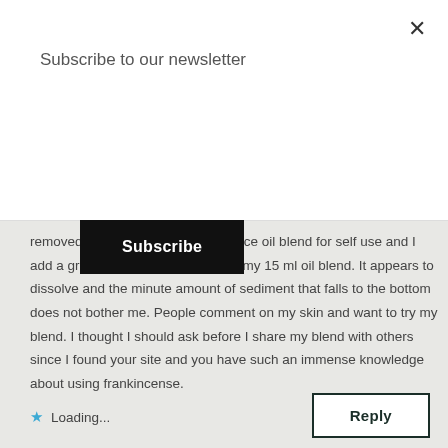Subscribe to our newsletter
Subscribe
removed. I ask because I make a face oil blend for self use and I add a ground frankincense bead to my 15 ml oil blend. It appears to dissolve and the minute amount of sediment that falls to the bottom does not bother me. People comment on my skin and want to try my blend. I thought I should ask before I share my blend with others since I found your site and you have such an immense knowledge about using frankincense.
Loading...
Reply